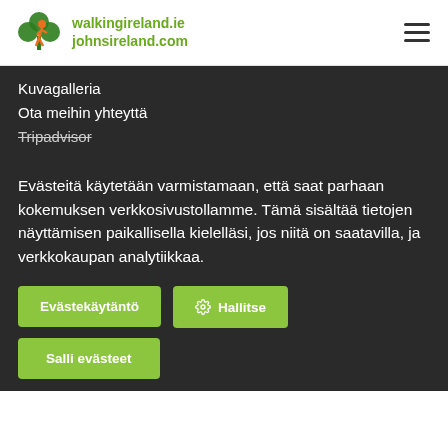walkingireland.ie johnsireland.com
Kuvagalleria
Ota meihin yhteyttä
Tripadvisor
Evästeitä käytetään varmistamaan, että saat parhaan kokemuksen verkkosivustollamme. Tämä sisältää tietojen näyttämisen paikallisella kielelläsi, jos niitä on saatavilla, ja verkkokaupan analytiikkaa.
Evästekäytäntö
Hallitse
Salli evästeet